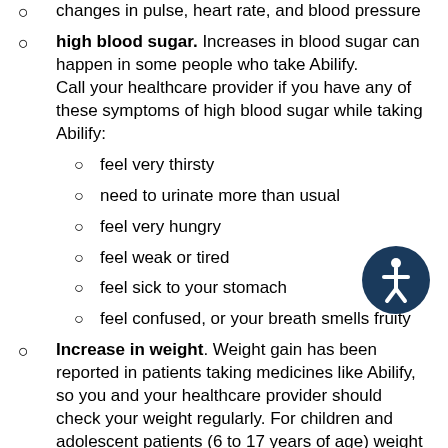changes in pulse, heart rate, and blood pressure
high blood sugar. Increases in blood sugar can happen in some people who take Abilify. Call your healthcare provider if you have any of these symptoms of high blood sugar while taking Abilify:
feel very thirsty
need to urinate more than usual
feel very hungry
feel weak or tired
feel sick to your stomach
feel confused, or your breath smells fruity
Increase in weight. Weight gain has been reported in patients taking medicines like Abilify, so you and your healthcare provider should check your weight regularly. For children and adolescent patients (6 to 17 years of age) weight gain should be compared against that expected